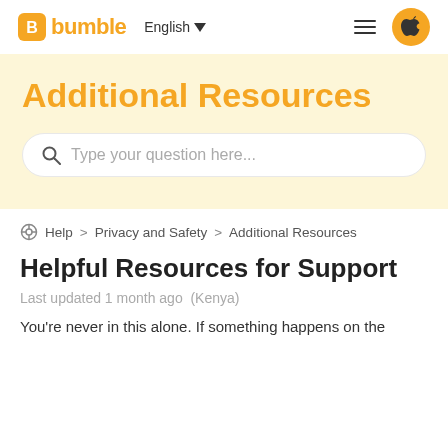bumble | English | menu | app store
Additional Resources
Type your question here...
Help > Privacy and Safety > Additional Resources
Helpful Resources for Support
Last updated 1 month ago  (Kenya)
You're never in this alone. If something happens on the